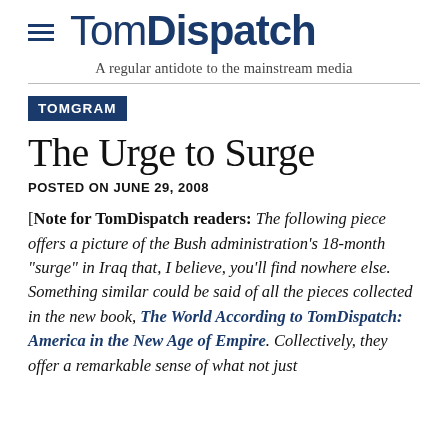TomDispatch — A regular antidote to the mainstream media
TOMGRAM
The Urge to Surge
POSTED ON JUNE 29, 2008
[Note for TomDispatch readers: The following piece offers a picture of the Bush administration's 18-month "surge" in Iraq that, I believe, you'll find nowhere else. Something similar could be said of all the pieces collected in the new book, The World According to TomDispatch: America in the New Age of Empire. Collectively, they offer a remarkable sense of what not just